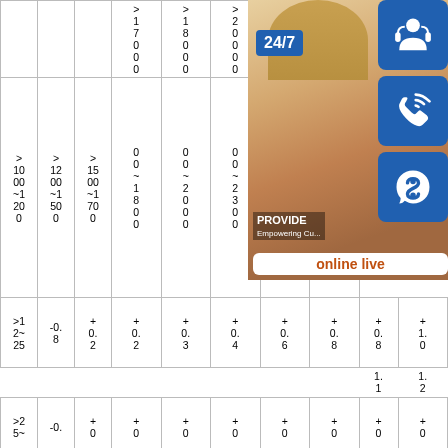| > | > | > | > 1 7 0 0 0 ~ | > 1 8 0 0 0 ~ | > 2 0 0 0 0 ~ | > 2 3 0 0 0 ~ | > 2 5 0 0 0 ~ | > 2 6 8 0 0 0 | > 2 2 0 0 0 |
| > 10 00 ~1 20 0 | > 12 00 ~1 50 0 | > 15 00 ~1 70 0 | ... |
| >1 2~ 25 | -0. 8 | + 0. 2 | + 0. 2 | + 0. 3 | + 0. 4 | + 0. 6 | + 0. 8 | + 0. 8 | + 1. 0 | + 1. 1 | + 1. 2 |
| >2 5~ | -0. | + 0 | + 0 | + 0 | + 0 | + 0 | + 0 | + 0 | + 0 | + 0 1 | + 1 1 |
[Figure (infographic): Customer service infographic overlay showing a woman with headset, 24/7 badge, phone icon, Skype icon, and 'online live' label with text 'PROVIDE Empowering Cu...']